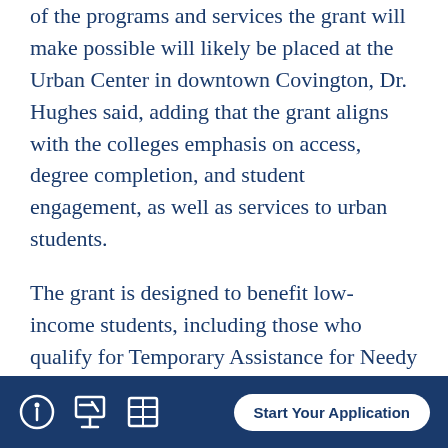of the programs and services the grant will make possible will likely be placed at the Urban Center in downtown Covington, Dr. Hughes said, adding that the grant aligns with the colleges emphasis on access, degree completion, and student engagement, as well as services to urban students.
The grant is designed to benefit low-income students, including those who qualify for Temporary Assistance for Needy Families or who meet the income eligibility guidelines for Pell grants. The grant is expected to create about 20 faculty and
Start Your Application